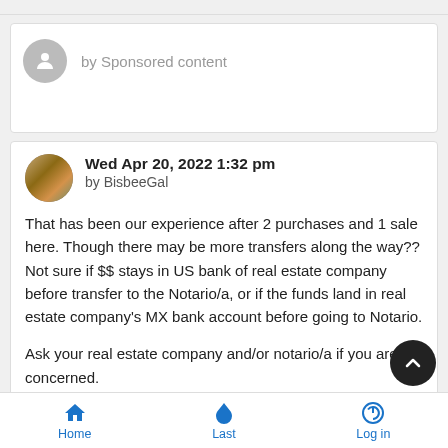by Sponsored content
Wed Apr 20, 2022 1:32 pm by BisbeeGal
That has been our experience after 2 purchases and 1 sale here. Though there may be more transfers along the way??  Not sure if $$ stays in US bank of real estate company before transfer to the Notario/a, or if the funds land in real estate company's MX bank account before going to Notario.
Ask your real estate company and/or notario/a if you are concerned.
Home  Last  Log in